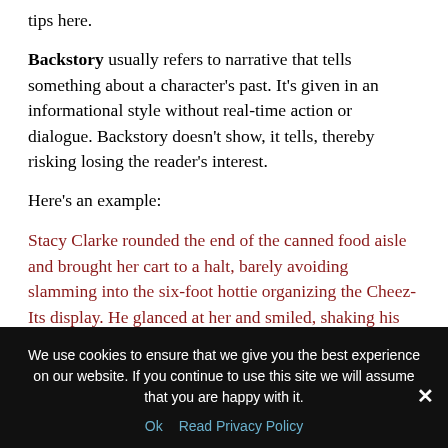tips here.
Backstory usually refers to narrative that tells something about a character's past. It's given in an informational style without real-time action or dialogue. Backstory doesn't show, it tells, thereby risking losing the reader's interest.
Here's an example:
Stacy Clarke rounded the end of the canned food aisle and brought her cart to a halt, barely avoiding slamming into the six-foot hottie organizing the Cheez-Its display. He glanced at her and smiled, shaking his longish bangs away from his eyes. She lowered her eyes and mumbled as she maneuvered around him. Ugh. Another opportunity blown...
We use cookies to ensure that we give you the best experience on our website. If you continue to use this site we will assume that you are happy with it.
Ok   Read Privacy Policy